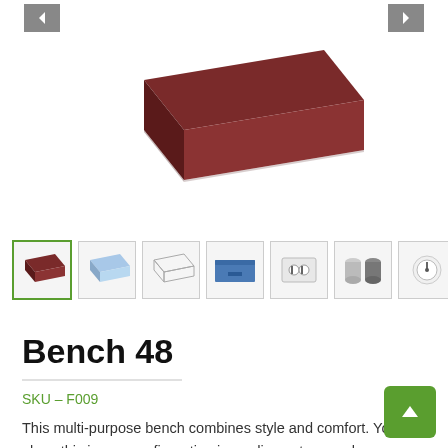[Figure (photo): Main product image of a dark red/maroon rectangular bench (Bench 48) viewed from a 3D angle, showing its padded top surface and solid block shape against a white background. Navigation arrows visible top-left and top-right.]
[Figure (photo): Thumbnail strip showing 7 product images: (1) dark red bench 3D view (active/selected with green border), (2) light blue bench 3D view, (3) white outline/wireframe bench, (4) blue bench front view, (5) power outlet accessory, (6) cylindrical accessories, (7) round gauge accessory.]
Bench 48
SKU – F009
This multi-purpose bench combines style and comfort. You can place this in any configuration in media centers or classrooms. Its rectangular shape makes it a flexible option for small collaboration areas. Rearranging with it won't be a problem.